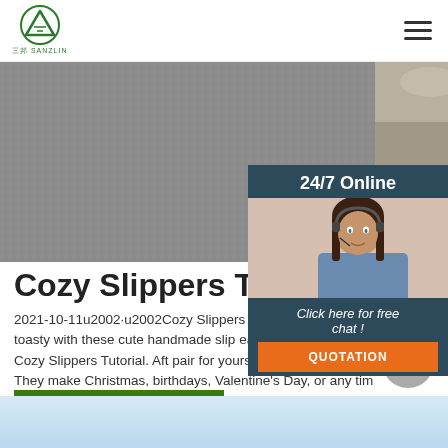三邦 SANZLIN — navigation header with logo and hamburger menu
[Figure (photo): Gray fabric texture hero image spanning most of the width]
[Figure (photo): 24/7 Online customer service panel with woman wearing headset, Click here for free chat! text, and QUOTATION button]
Cozy Slippers Tutorial
2021-10-11u2002·u2002Cozy Slippers Tutorial. K warm and toasty with these cute handmade slip easy to sew using this Cozy Slippers Tutorial. Aft pair for yourself, sew a couple more. They make Christmas, birthdays, Valentine's Day, or any tim
[Figure (other): Get Price green button]
[Figure (other): Scroll to top circular gray button with upward chevron]
[Figure (other): Light blue bottom section]